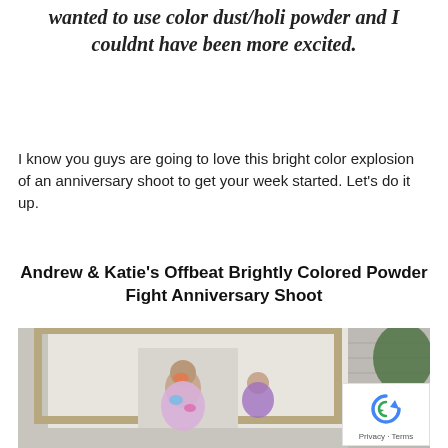wanted to use color dust/holi powder and I couldnt have been more excited.
I know you guys are going to love this bright color explosion of an anniversary shoot to get your week started. Let's do it up.
Andrew & Katie's Offbeat Brightly Colored Powder Fight Anniversary Shoot
[Figure (photo): Two people playing with colored powder outside a white building with a large wooden picture frame prop. One person faces the camera with colorful powder on their face and clothing, the other smiles in the background.]